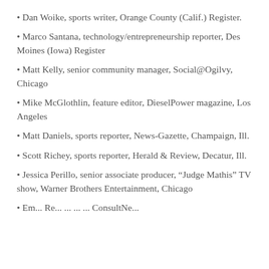Dan Woike, sports writer, Orange County (Calif.) Register.
Marco Santana, technology/entrepreneurship reporter, Des Moines (Iowa) Register
Matt Kelly, senior community manager, Social@Ogilvy, Chicago
Mike McGlothlin, feature editor, DieselPower magazine, Los Angeles
Matt Daniels, sports reporter, News-Gazette, Champaign, Ill.
Scott Richey, sports reporter, Herald & Review, Decatur, Ill.
Jessica Perillo, senior associate producer, “Judge Mathis” TV show, Warner Brothers Entertainment, Chicago
Em... Re... [partially visible]